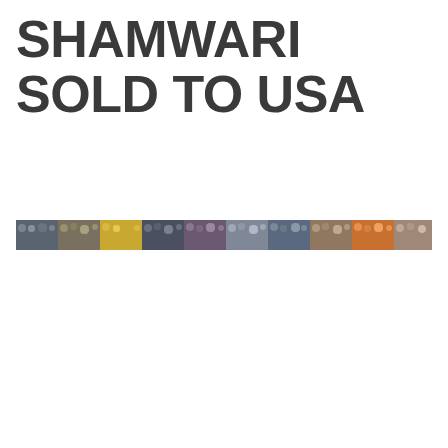SHAMWARI SOLD TO USA
[Figure (photo): A wide panoramic strip photo showing a crowd of spectators at what appears to be a sporting event, with multiple segments showing people in stands.]